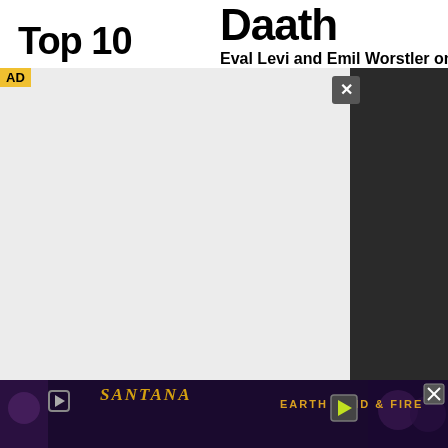Top 10
Daath
Eval Levi and Emil Worstler on my
[Figure (screenshot): Advertisement overlay with yellow AD label, light gray box on left and dark box on right, with close (X) button in dark rounded square]
of metal today. Daath is also one of those bands I can't help but to simply call "Metal" with no other adjective, tag line, expression, or derogatory term attached to it. Yet, at the same time these guys are anything but generic and have a unique sound of their own. How many bands can you say that about these days?
6. Veil of
[Figure (screenshot): Bottom advertisement bar showing Santana and Earth Wind & Fire promotional image with play icon and close button on dark purple background]